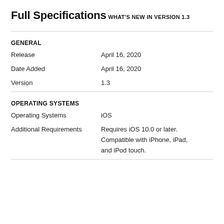Full Specifications
WHAT'S NEW IN VERSION 1.3
GENERAL
| Release | April 16, 2020 |
| Date Added | April 16, 2020 |
| Version | 1.3 |
OPERATING SYSTEMS
| Operating Systems | iOS |
| Additional Requirements | Requires iOS 10.0 or later.
Compatible with iPhone, iPad, and iPod touch. |